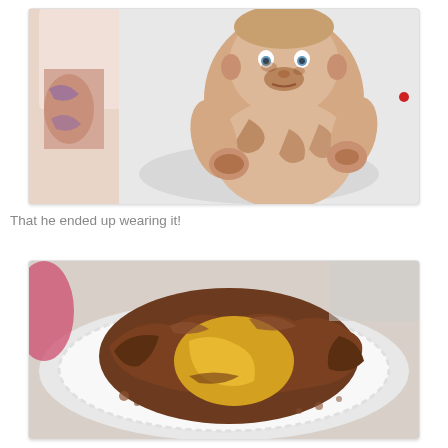[Figure (photo): A baby covered in chocolate cake/food mess sitting in a high chair, with an adult standing behind them. The baby looks directly at the camera with food smeared all over their face, chest, and arms.]
That he ended up wearing it!
[Figure (photo): A smashed chocolate cake on a white doily and plate. The cake has yellow/cream interior visible where it has been destroyed, with chocolate frosting scattered around.]